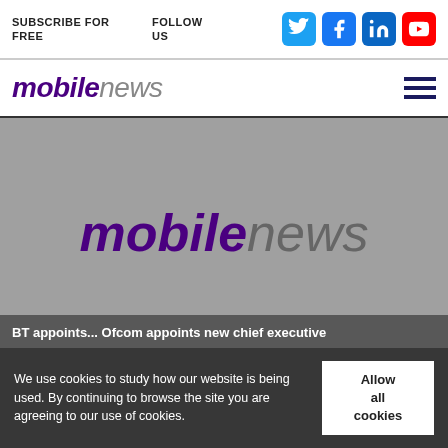SUBSCRIBE FOR FREE   FOLLOW US
[Figure (logo): mobilenews logo with purple bold 'mobile' and grey 'news' in italic style]
[Figure (photo): Grey placeholder image with large mobilenews logo centered, article teaser text partially visible at bottom: 'BT appoints... Ofcom appoints new chief executive']
We use cookies to study how our website is being used. By continuing to browse the site you are agreeing to our use of cookies.